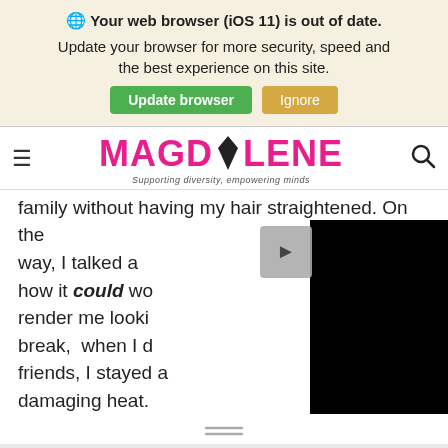Your web browser (iOS 11) is out of date. Update your browser for more security, speed and the best experience on this site. Update browser | Ignore
[Figure (logo): Magdalene website logo with tagline: Supporting diversity, empowering minds]
family without having my hair straightened. On the way, I talked a... how it could wor... render me lookin... break, when I di... friends, I stayed a... damaging heat.
[Figure (screenshot): Black video player overlay obscuring part of the article text]